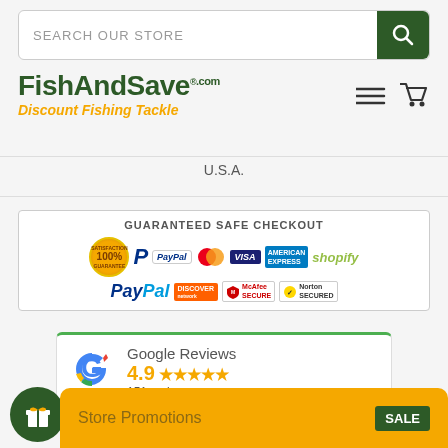[Figure (screenshot): Search bar with 'SEARCH OUR STORE' placeholder and green search button]
[Figure (logo): FishAndSave.com logo with green text and orange 'Discount Fishing Tackle' tagline]
U.S.A.
[Figure (infographic): Guaranteed Safe Checkout banner with PayPal, Visa, MasterCard, Amex, Discover, McAfee SECURE, Norton SECURED, Shopify logos and 100% Satisfaction Guarantee badge]
[Figure (infographic): Google Reviews widget showing 4.9 stars from 151 reviews]
Store Promotions
© FishAndSave ®